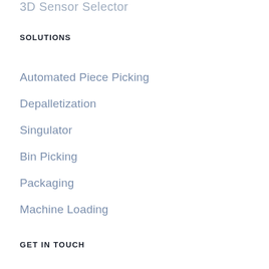3D Sensor Selector
SOLUTIONS
Automated Piece Picking
Depalletization
Singulator
Bin Picking
Packaging
Machine Loading
GET IN TOUCH